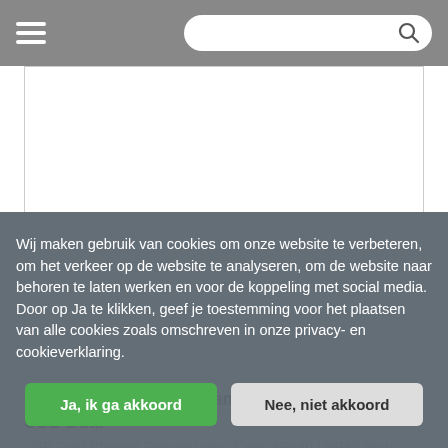Navigation header with hamburger menu and search bar
[Figure (photo): White product image area showing Casio NP-40/NP40 Camera Accu Oplader USB Dual charger product photo]
Casio NP-40 / NP40 - Camera Accu Oplader - USB Dual
USB Dual Charger Geschikt voor Casio NP-40 / NP40 accu's…
Wij maken gebruik van cookies om onze website te verbeteren, om het verkeer op de website te analyseren, om de website naar behoren te laten werken en voor de koppeling met social media. Door op Ja te klikken, geef je toestemming voor het plaatsen van alle cookies zoals omschreven in onze privacy- en cookieverklaring.
Ja, ik ga akkoord
Nee, niet akkoord